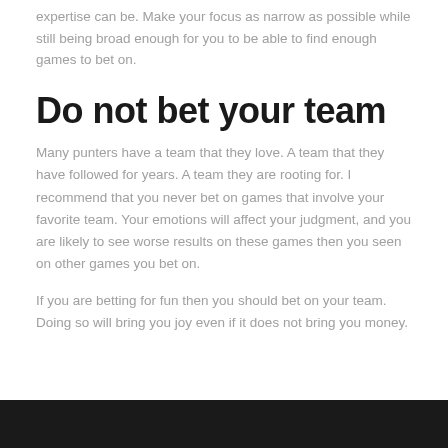expertise can be. Make your focus as narrow as possible while still being broad enough for you to be able to find enough games to bet on.
Do not bet your team
Many punters have a team that they love. A team that they have followed for years. A team they are rooting for. I recommend that you never bet on games that involve your favorite team. Your emotions will affect your judgment, and you are likely to see worse results on these games then you seen on other games you bet on.
If you are betting for fun then you should bet on your team. Doing so will bring you joy even if it does not bring you money.